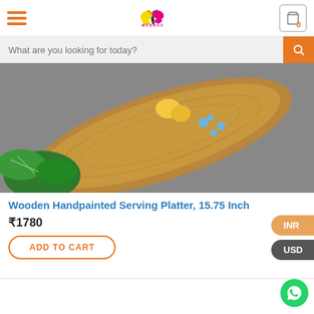[Figure (logo): WebBox logo with butterfly icon and 'WEBBOX' text in pink]
What are you looking for today?
[Figure (photo): A wooden handpainted serving platter with floral designs and fruits, on a grey background with green plants]
Wooden Handpainted Serving Platter, 15.75 Inch
₹1780
ADD TO CART
INR
USD